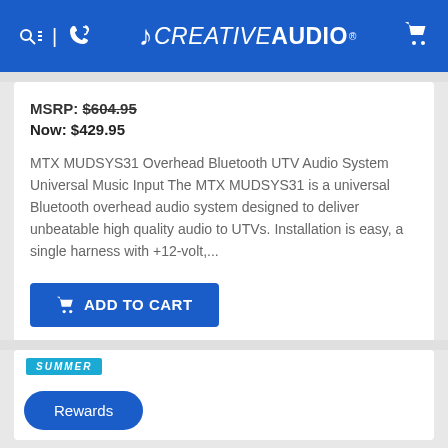CREATIVE AUDIO
MSRP: $604.95
Now: $429.95
MTX MUDSYS31 Overhead Bluetooth UTV Audio System Universal Music Input The MTX MUDSYS31 is a universal Bluetooth overhead audio system designed to deliver unbeatable high quality audio to UTVs. Installation is easy, a single harness with +12-volt,...
Add to Cart
SUMMER
Rewards